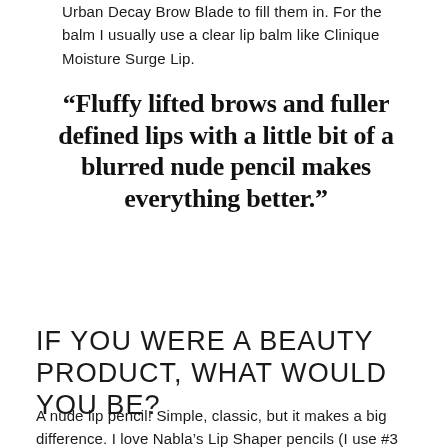Urban Decay Brow Blade to fill them in. For the balm I usually use a clear lip balm like Clinique Moisture Surge Lip.
“Fluffy lifted brows and fuller defined lips with a little bit of a blurred nude pencil makes everything better.”
IF YOU WERE A BEAUTY PRODUCT, WHAT WOULD YOU BE?
A nude lip pencil! Simple, classic, but it makes a big difference. I love Nabla’s Lip Shaper pencils (I use #3 the